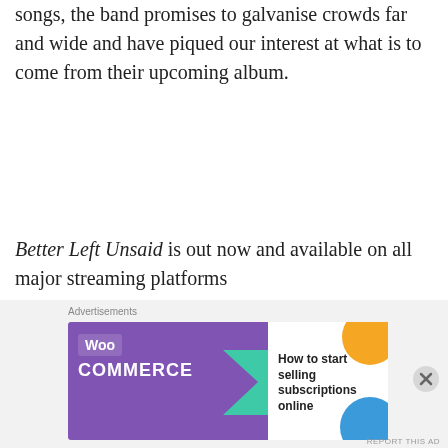songs, the band promises to galvanise crowds far and wide and have piqued our interest at what is to come from their upcoming album.
Better Left Unsaid is out now and available on all major streaming platforms
Cryptodira's upcoming second studio album, The
[Figure (other): WooCommerce advertisement banner: purple background with WooCommerce logo and text 'How to start selling subscriptions online', with teal arrow, orange and blue decorative shapes on the right side.]
Advertisements